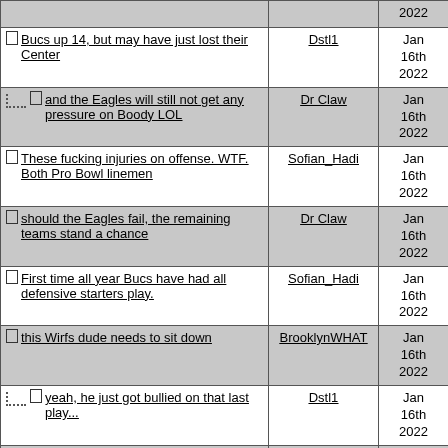| Post | Author | Date |
| --- | --- | --- |
| (partial top row) |  | 2022 |
| Bucs up 14, but may have just lost their Center | Dstl1 | Jan 16th 2022 |
| and the Eagles will still not get any pressure on Boody LOL | Dr Claw | Jan 16th 2022 |
| These fucking injuries on offense. WTF. Both Pro Bowl linemen | Sofian_Hadi | Jan 16th 2022 |
| should the Eagles fail, the remaining teams stand a chance | Dr Claw | Jan 16th 2022 |
| First time all year Bucs have had all defensive starters play. | Sofian_Hadi | Jan 16th 2022 |
| this Wirfs dude needs to sit down | BrooklynWHAT | Jan 16th 2022 |
| yeah, he just got bullied on that last play... | Dstl1 | Jan 16th 2022 |
| This half is dragging | Amritsar | Jan 16th 2022 |
| Refs working the shit out of their whistles and flags against Philly lol | Beezo | Jan 16th 2022 |
| That one...Hurts *looks into camera* | Dstl1 | Jan 16th (partial) |